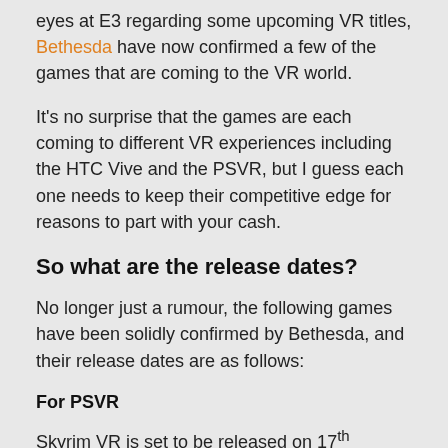eyes at E3 regarding some upcoming VR titles, Bethesda have now confirmed a few of the games that are coming to the VR world.
It's no surprise that the games are each coming to different VR experiences including the HTC Vive and the PSVR, but I guess each one needs to keep their competitive edge for reasons to part with your cash.
So what are the release dates?
No longer just a rumour, the following games have been solidly confirmed by Bethesda, and their release dates are as follows:
For PSVR
Skyrim VR is set to be released on 17th November, although it's not gone down too well with fans,